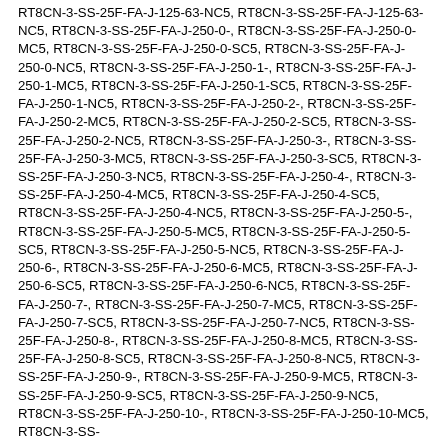RT8CN-3-SS-25F-FA-J-125-63-NC5, RT8CN-3-SS-25F-FA-J-125-63-NC5, RT8CN-3-SS-25F-FA-J-250-0-, RT8CN-3-SS-25F-FA-J-250-0-MC5, RT8CN-3-SS-25F-FA-J-250-0-SC5, RT8CN-3-SS-25F-FA-J-250-0-NC5, RT8CN-3-SS-25F-FA-J-250-1-, RT8CN-3-SS-25F-FA-J-250-1-MC5, RT8CN-3-SS-25F-FA-J-250-1-SC5, RT8CN-3-SS-25F-FA-J-250-1-NC5, RT8CN-3-SS-25F-FA-J-250-2-, RT8CN-3-SS-25F-FA-J-250-2-MC5, RT8CN-3-SS-25F-FA-J-250-2-SC5, RT8CN-3-SS-25F-FA-J-250-2-NC5, RT8CN-3-SS-25F-FA-J-250-3-, RT8CN-3-SS-25F-FA-J-250-3-MC5, RT8CN-3-SS-25F-FA-J-250-3-SC5, RT8CN-3-SS-25F-FA-J-250-3-NC5, RT8CN-3-SS-25F-FA-J-250-4-, RT8CN-3-SS-25F-FA-J-250-4-MC5, RT8CN-3-SS-25F-FA-J-250-4-SC5, RT8CN-3-SS-25F-FA-J-250-4-NC5, RT8CN-3-SS-25F-FA-J-250-5-, RT8CN-3-SS-25F-FA-J-250-5-MC5, RT8CN-3-SS-25F-FA-J-250-5-SC5, RT8CN-3-SS-25F-FA-J-250-5-NC5, RT8CN-3-SS-25F-FA-J-250-6-, RT8CN-3-SS-25F-FA-J-250-6-MC5, RT8CN-3-SS-25F-FA-J-250-6-SC5, RT8CN-3-SS-25F-FA-J-250-6-NC5, RT8CN-3-SS-25F-FA-J-250-7-, RT8CN-3-SS-25F-FA-J-250-7-MC5, RT8CN-3-SS-25F-FA-J-250-7-SC5, RT8CN-3-SS-25F-FA-J-250-7-NC5, RT8CN-3-SS-25F-FA-J-250-8-, RT8CN-3-SS-25F-FA-J-250-8-MC5, RT8CN-3-SS-25F-FA-J-250-8-SC5, RT8CN-3-SS-25F-FA-J-250-8-NC5, RT8CN-3-SS-25F-FA-J-250-9-, RT8CN-3-SS-25F-FA-J-250-9-MC5, RT8CN-3-SS-25F-FA-J-250-9-SC5, RT8CN-3-SS-25F-FA-J-250-9-NC5, RT8CN-3-SS-25F-FA-J-250-10-, RT8CN-3-SS-25F-FA-J-250-10-MC5, RT8CN-3-SS-